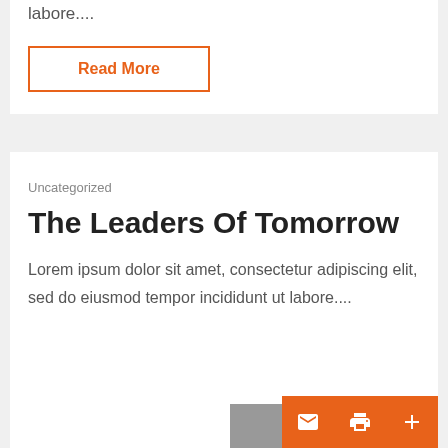labore....
Read More
Uncategorized
The Leaders Of Tomorrow
Lorem ipsum dolor sit amet, consectetur adipiscing elit, sed do eiusmod tempor incididunt ut labore....